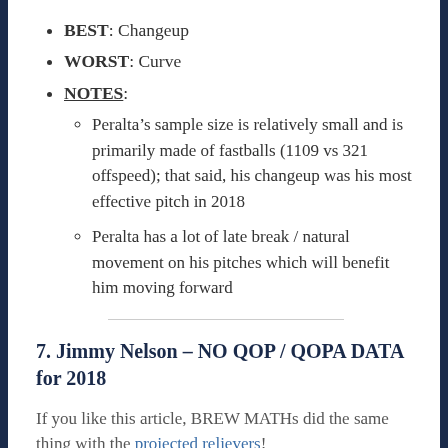BEST: Changeup
WORST: Curve
NOTES:
Peralta’s sample size is relatively small and is primarily made of fastballs (1109 vs 321 offspeed); that said, his changeup was his most effective pitch in 2018
Peralta has a lot of late break / natural movement on his pitches which will benefit him moving forward
7. Jimmy Nelson – NO QOP / QOPA DATA for 2018
If you like this article, BREW MATHs did the same thing with the projected relievers!